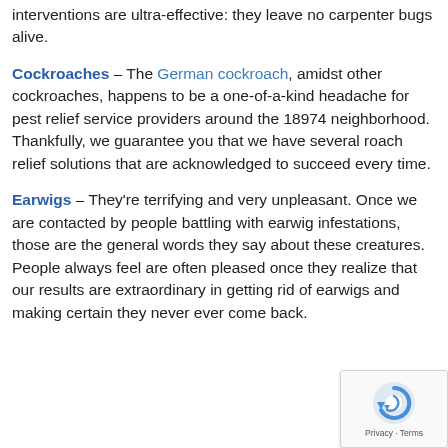interventions are ultra-effective: they leave no carpenter bugs alive.
Cockroaches – The German cockroach, amidst other cockroaches, happens to be a one-of-a-kind headache for pest relief service providers around the 18974 neighborhood. Thankfully, we guarantee you that we have several roach relief solutions that are acknowledged to succeed every time.
Earwigs – They're terrifying and very unpleasant. Once we are contacted by people battling with earwig infestations, those are the general words they say about these creatures. People always feel are often pleased once they realize that our results are extraordinary in getting rid of earwigs and making certain they never ever come back.